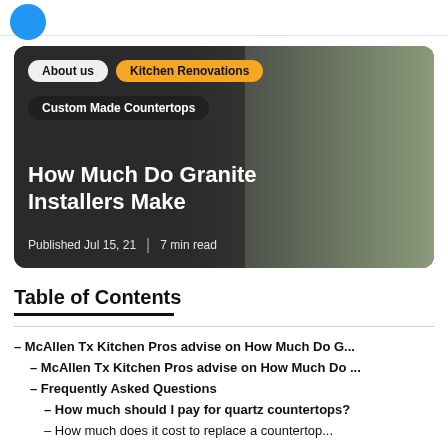[Figure (photo): Kitchen renovation hero image showing a modern kitchen with granite/quartz countertops, dark cabinetry, and outdoor greenery visible through large windows. Overlaid with tags: About us, Kitchen Renovations, Custom Made Countertops. Title: How Much Do Granite Installers Make. Published Jul 15, 21 | 7 min read.]
Table of Contents
– McAllen Tx Kitchen Pros advise on How Much Do G...
– McAllen Tx Kitchen Pros advise on How Much Do ...
– Frequently Asked Questions
– How much should I pay for quartz countertops?
– How much does it cost to replace a countertop...